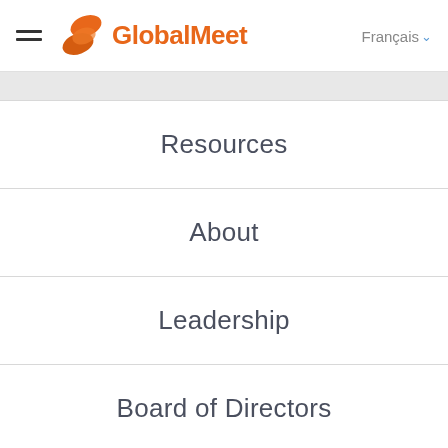GlobalMeet — Français
Resources
About
Leadership
Board of Directors